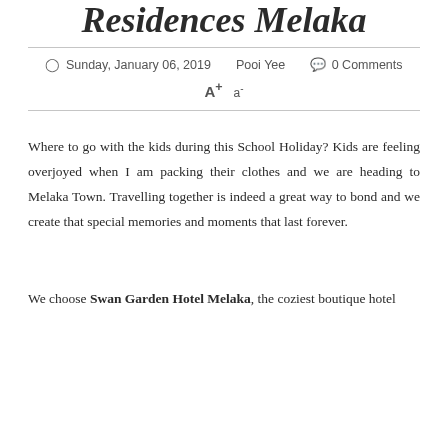Residences Melaka
Sunday, January 06, 2019   Pooi Yee   0 Comments   A+ a-
Where to go with the kids during this School Holiday? Kids are feeling overjoyed when I am packing their clothes and we are heading to Melaka Town. Travelling together is indeed a great way to bond and we create that special memories and moments that last forever.
We choose Swan Garden Hotel Melaka, the coziest boutique hotel